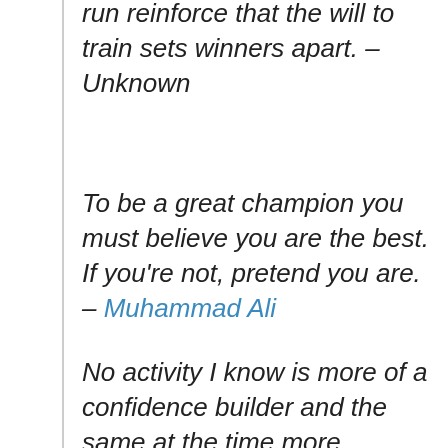run reinforce that the will to train sets winners apart. – Unknown
To be a great champion you must believe you are the best. If you're not, pretend you are. – Muhammad Ali
No activity I know is more of a confidence builder and the same at the time more humility training than wrestling. – James